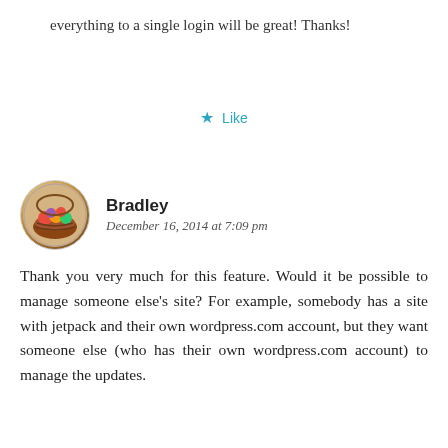everything to a single login will be great! Thanks!
★ Like
Bradley
December 16, 2014 at 7:09 pm
Thank you very much for this feature. Would it be possible to manage someone else's site? For example, somebody has a site with jetpack and their own wordpress.com account, but they want someone else (who has their own wordpress.com account) to manage the updates.